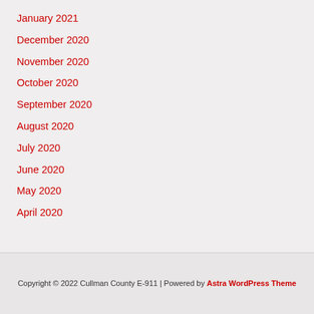January 2021
December 2020
November 2020
October 2020
September 2020
August 2020
July 2020
June 2020
May 2020
April 2020
Copyright © 2022 Cullman County E-911 | Powered by Astra WordPress Theme